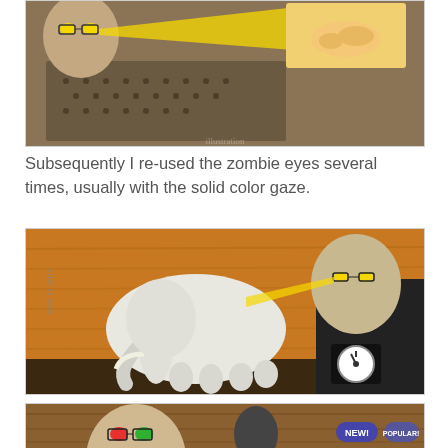[Figure (illustration): Collage artwork showing a man with glowing yellow zombie eyes shooting a yellow beam of light toward a reclining woman on a stage, with a large audience below, in sepia/brown tones with yellow highlights.]
Subsequently I re-used the zombie eyes several times, usually with the solid color gaze.
[Figure (illustration): Collage artwork on orange/brown wood-grain background showing a white elephant and a man with yellow zombie eyes wearing a suit, with a clock gauge on a black panel, dated SEP 11 2011.]
[Figure (illustration): Collage artwork showing a bald man with colorful zombie eyes and buttons labeled NEW! and POPULAR! on a brown wood-grain background, partially visible at bottom of page.]